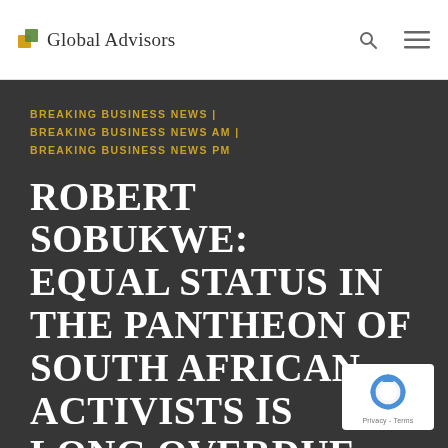Global Advisors
BREAKING BUSINESS NEWS | BREAKING BUSINESS NEWS AM | BREAKING BUSINESS NEWS PM
ROBERT SOBUKWE: EQUAL STATUS IN THE PANTHEON OF SOUTH AFRICAN ACTIVISTS IS LONG OVERDUE